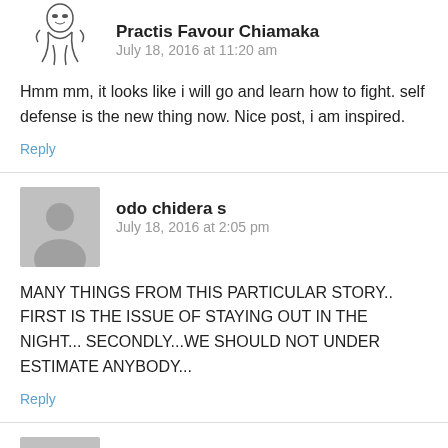[Figure (illustration): Sketch illustration avatar of a person]
Practis Favour Chiamaka
July 18, 2016 at 11:20 am
Hmm mm, it looks like i will go and learn how to fight. self defense is the new thing now. Nice post, i am inspired.
Reply
[Figure (illustration): Generic grey silhouette avatar]
odo chidera s
July 18, 2016 at 2:05 pm
MANY THINGS FROM THIS PARTICULAR STORY.. FIRST IS THE ISSUE OF STAYING OUT IN THE NIGHT... SECONDLY...WE SHOULD NOT UNDER ESTIMATE ANYBODY...
Reply
[Figure (illustration): Generic grey silhouette avatar for elijah amogu]
elijah amogu